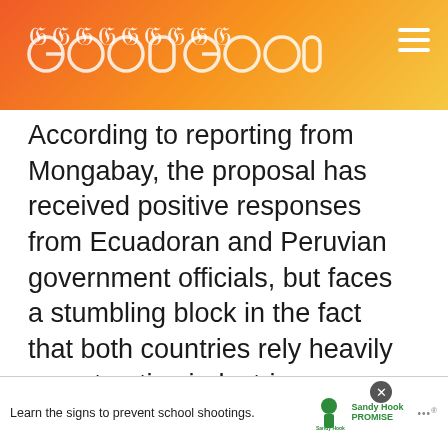GOODGOODGOOD
According to reporting from Mongabay, the proposal has received positive responses from Ecuadoran and Peruvian government officials, but faces a stumbling block in the fact that both countries rely heavily on extractive industries operating within the Amazon to help pay off foreign debt.
WHAT'S NEXT → 7 Positive Good News....
Chile just became the 31st
[Figure (infographic): Sandy Hook Promise advertisement: Learn the signs to prevent school shootings.]